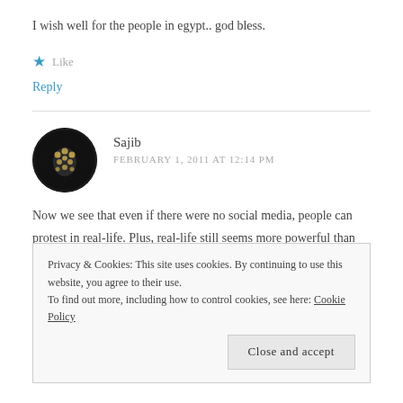I wish well for the people in egypt.. god bless.
★ Like
Reply
Sajib
FEBRUARY 1, 2011 AT 12:14 PM
Now we see that even if there were no social media, people can protest in real-life. Plus, real-life still seems more powerful than
Privacy & Cookies: This site uses cookies. By continuing to use this website, you agree to their use.
To find out more, including how to control cookies, see here: Cookie Policy
Close and accept
★ Like